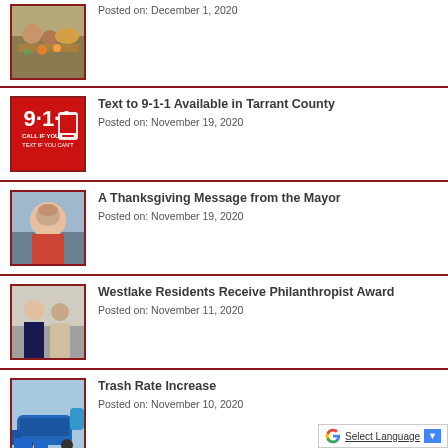[Figure (photo): Photo of people at a food table with fruits/vegetables]
Posted on: December 1, 2020
[Figure (logo): 9-1-1 logo: red background, white text saying 9-1-1, CALL IF YOU CAN, TEXT IF YOU CAN'T, with phone icon]
Text to 9-1-1 Available in Tarrant County
Posted on: November 19, 2020
[Figure (photo): Photo of a woman smiling, wearing red]
A Thanksgiving Message from the Mayor
Posted on: November 19, 2020
[Figure (photo): Photo of two people standing in front of a wall]
Westlake Residents Receive Philanthropist Award
Posted on: November 11, 2020
[Figure (photo): Photo of blue trash truck and trash cans]
Trash Rate Increase
Posted on: November 10, 2020
[Figure (logo): Small Business logo with people figures and blue text]
Help for Small Businesses
Posted on: November 6, 2020
Select Language